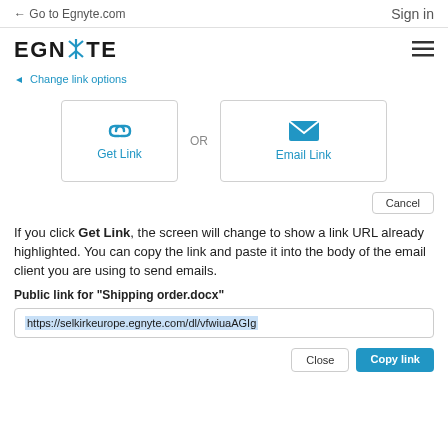← Go to Egnyte.com   Sign in
[Figure (logo): Egnyte logo with teal asterisk/star icon between EGN and TE, plus hamburger menu icon on right]
↩ Change link options
[Figure (screenshot): Two buttons: 'Get Link' (chain link icon) and 'Email Link' (envelope icon) with 'OR' label between them]
Cancel button
If you click Get Link, the screen will change to show a link URL already highlighted. You can copy the link and paste it into the body of the email client you are using to send emails.
Public link for "Shipping order.docx"
https://selkirkeurope.egnyte.com/dl/vfwiuaAGIg
Close   Copy link